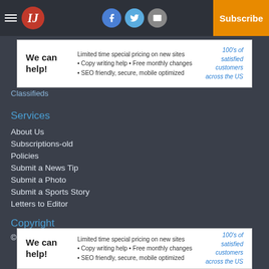IJ | Log In | Subscribe | Facebook | Twitter | Email
[Figure (screenshot): Advertisement banner: 'We can help!' with text about limited time special pricing, copy writing help, free monthly changes, SEO friendly, secure, mobile optimized, 100's of satisfied customers across the US]
Classifieds
Services
About Us
Subscriptions-old
Policies
Submit a News Tip
Submit a Photo
Submit a Sports Story
Letters to Editor
Copyright
© 2022, The Interior Journal
[Figure (screenshot): Advertisement banner (bottom): 'We can help!' with text about limited time special pricing, copy writing help, free monthly changes, SEO friendly, secure, mobile optimized, 100's of satisfied customers across the US]